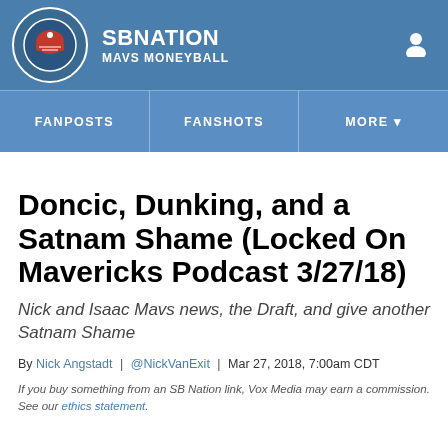SB NATION | MAVS MONEYBALL
FANPOSTS | FANSHOTS | MORE
Doncic, Dunking, and a Satnam Shame (Locked On Mavericks Podcast 3/27/18)
Nick and Isaac Mavs news, the Draft, and give another Satnam Shame
By Nick Angstadt | @NickVanExit | Mar 27, 2018, 7:00am CDT
If you buy something from an SB Nation link, Vox Media may earn a commission. See our ethics statement.